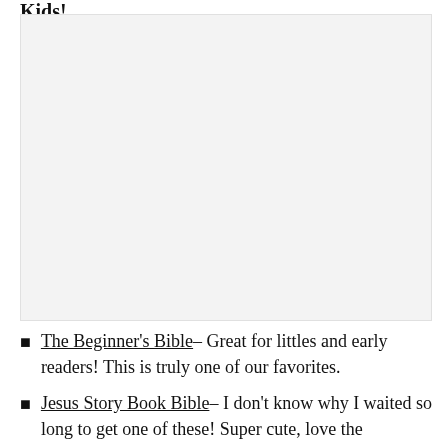Kids!
[Figure (photo): A large light gray placeholder image box]
The Beginner's Bible– Great for littles and early readers! This is truly one of our favorites.
Jesus Story Book Bible– I don't know why I waited so long to get one of these! Super cute, love the